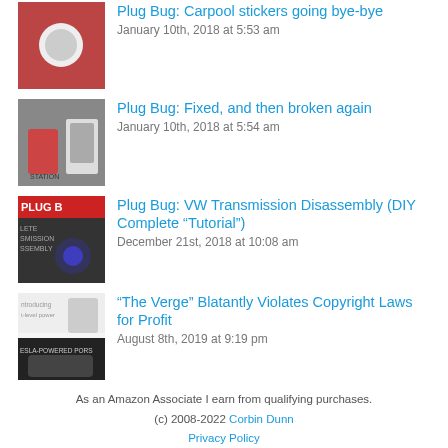Plug Bug: Carpool stickers going bye-bye — January 10th, 2018 at 5:53 am
Plug Bug: Fixed, and then broken again — January 10th, 2018 at 5:54 am
Plug Bug: VW Transmission Disassembly (DIY Complete “Tutorial”) — December 21st, 2018 at 10:08 am
“The Verge” Blatantly Violates Copyright Laws for Profit — August 8th, 2019 at 9:19 pm
As an Amazon Associate I earn from qualifying purchases.
(c) 2008-2022 Corbin Dunn
Privacy Policy
Subscribe to RSS feeds for entries.
97 queries. 1.348 seconds.
Log in